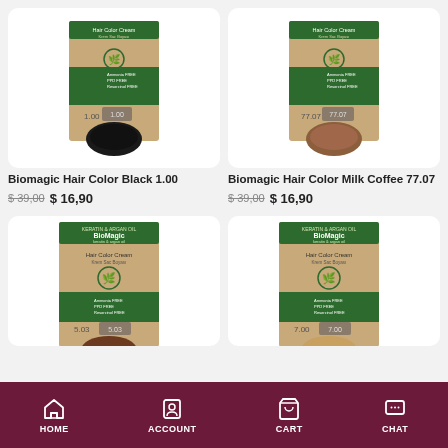[Figure (photo): Biomagic Hair Color Black 1.00 product box with kraft brown packaging, green label, and color swatch showing black]
[Figure (photo): Biomagic Hair Color Milk Coffee 77.07 product box with kraft brown packaging, green label, and color swatch showing milk coffee brown]
Biomagic Hair Color Black 1.00
$ 39,00   $ 16,90
Biomagic Hair Color Milk Coffee 77.07
$ 39,00   $ 16,90
[Figure (photo): Biomagic Hair Color 5.03 product box (partially visible) with kraft brown packaging and green leaf logo]
[Figure (photo): Biomagic Hair Color 7.00 product box (partially visible) with kraft brown packaging and green leaf logo]
HOME   ACCOUNT   CART   CHAT